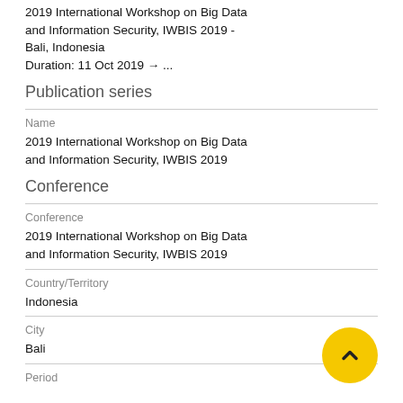2019 International Workshop on Big Data and Information Security, IWBIS 2019 - Bali, Indonesia
Duration: 11 Oct 2019 → ...
Publication series
Name
2019 International Workshop on Big Data and Information Security, IWBIS 2019
Conference
Conference
2019 International Workshop on Big Data and Information Security, IWBIS 2019
Country/Territory
Indonesia
City
Bali
Period